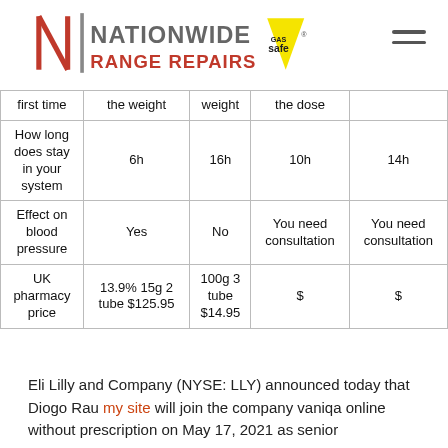[Figure (logo): Nationwide Range Repairs logo with Gas Safe badge and hamburger menu icon]
| first time | the weight | weight | the dose |  |
| How long does stay in your system | 6h | 16h | 10h | 14h |
| Effect on blood pressure | Yes | No | You need consultation | You need consultation |
| UK pharmacy price | 13.9% 15g 2 tube $125.95 | 100g 3 tube $14.95 | $ | $ |
Eli Lilly and Company (NYSE: LLY) announced today that Diogo Rau my site will join the company vaniqa online without prescription on May 17, 2021 as senior